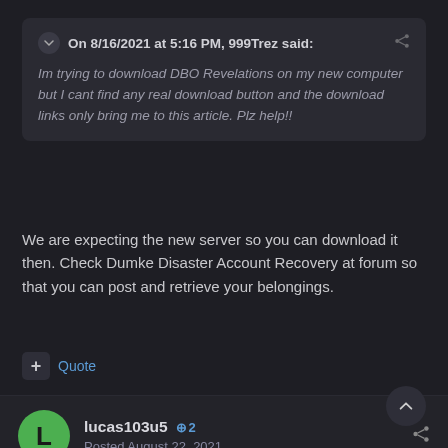On 8/16/2021 at 5:16 PM, 999Trez said:
Im trying to download DBO Revelations on my new computer but I cant find any real download button and the download links only bring me to this article. Plz help!!
We are expecting the new server so you can download it then. Check Dumke Disaster Account Recovery at forum so that you can post and retrieve your belongings.
Quote
lucas103u5  ⊕ 2
Posted August 22, 2021
ok